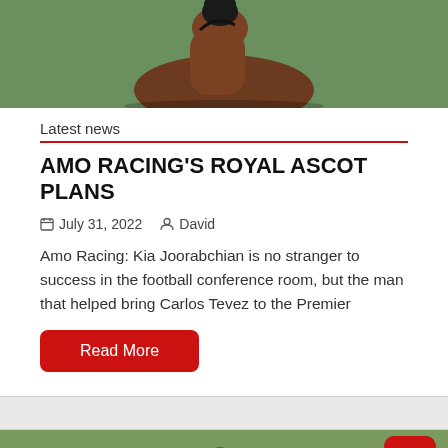[Figure (photo): Close-up photo of a racehorse with jockey, brown horse facing camera on green track]
Latest news
AMO RACING'S ROYAL ASCOT PLANS
July 31, 2022   David
Amo Racing: Kia Joorabchian is no stranger to success in the football conference room, but the man that helped bring Carlos Tevez to the Premier
Read More
[Figure (photo): Horse racing scene with multiple jockeys and horses racing on a track, green background]